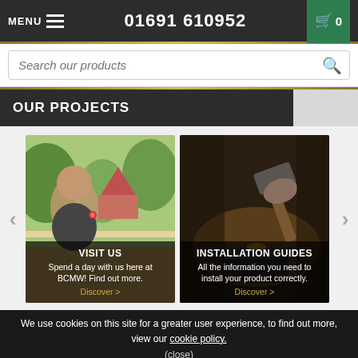MENU  01691 610952  0
Search our products
OUR PROJECTS
[Figure (photo): Woman holding a drink at an outdoor garden event with tents and plants in the background]
VISIT US
Spend a day with us here at BCMW! Find out more.
Discover >
[Figure (photo): Hand holding a hammer striking metal on an anvil in a dark workshop setting]
INSTALLATION GUIDES
All the information you need to install your product correctly.
Discover >
We use cookies on this site for a greater user experience, to find out more, view our cookie policy.
(close)
Connect on:
01691 610952